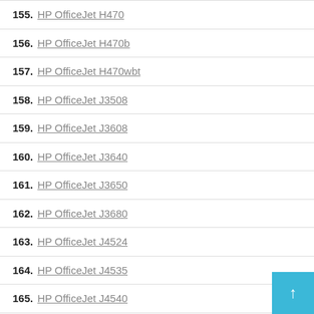155. HP OfficeJet H470
156. HP OfficeJet H470b
157. HP OfficeJet H470wbt
158. HP OfficeJet J3508
159. HP OfficeJet J3608
160. HP OfficeJet J3640
161. HP OfficeJet J3650
162. HP OfficeJet J3680
163. HP OfficeJet J4524
164. HP OfficeJet J4535
165. HP OfficeJet J4540
166. HP OfficeJet J4550